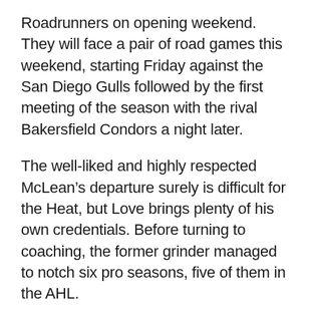Roadrunners on opening weekend. They will face a pair of road games this weekend, starting Friday against the San Diego Gulls followed by the first meeting of the season with the rival Bakersfield Condors a night later.
The well-liked and highly respected McLean’s departure surely is difficult for the Heat, but Love brings plenty of his own credentials. Before turning to coaching, the former grinder managed to notch six pro seasons, five of them in the AHL.
“I took a lot of pride in being a guy who was very competitive. A very good teammate, extremely hard worker,” Love recounted from his playing days.
“It’s a privilege any time you can become a head coach. It’s an unbelievable opportunity.”